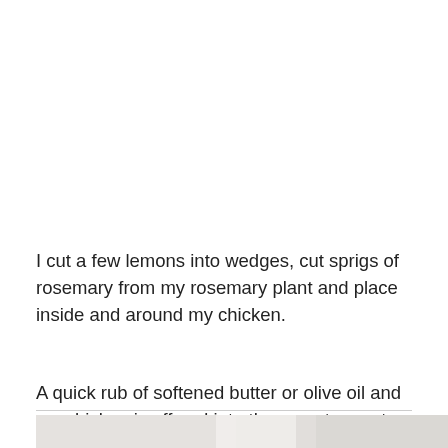I cut a few lemons into wedges, cut sprigs of rosemary from my rosemary plant and place inside and around my chicken.
A quick rub of softened butter or olive oil and my chicken is off and into the oven to roast away.
[Figure (photo): Partial photo of a roasted chicken dish, visible at the bottom of the page, light gray and white tones.]